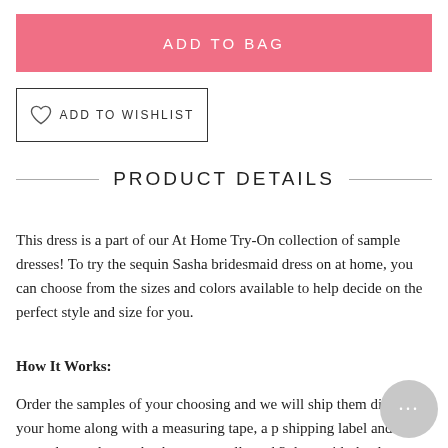[Figure (other): Pink 'ADD TO BAG' button]
[Figure (other): Heart icon 'ADD TO WISHLIST' button with border outline]
PRODUCT DETAILS
This dress is a part of our At Home Try-On collection of sample dresses! To try the sequin Sasha bridesmaid dress on at home, you can choose from the sizes and colors available to help decide on the perfect style and size for you.
How It Works:
Order the samples of your choosing and we will ship them directly to your home along with a measuring tape, a p shipping label and bag to send your dresses back to us are allowed 3 days with the dresses - so gather your girls, grab some champagne and snap some pics. Have a "try-on" party in